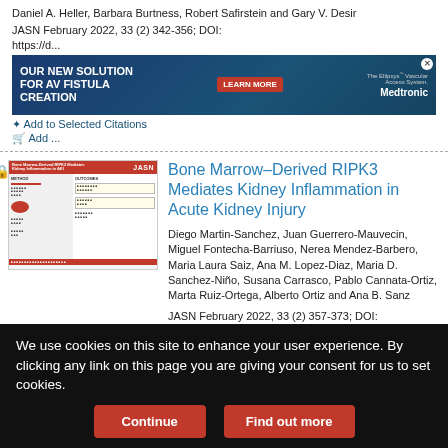Daniel A. Heller, Barbara Burtness, Robert Safirstein and Gary V. Desir
JASN February 2022, 33 (2) 342-356; DOI: https://d...
[Figure (advertisement): Medtronic ad banner for AV Fistula Creation featuring 'OUR NEW SOLUTION FOR AV FISTULA CREATION', LEARN MORE button, The Ellipsys Vascular Access System, and Medtronic logo]
+ Add to Selected Citations
Add ...
[Figure (screenshot): Thumbnail of JASN article: Bone Marrow-Derived RIPK3 Mediates Kidney Inflammation in AKI, showing red header with JASN logo, methods/outcomes diagram]
Bone Marrow–Derived RIPK3 Mediates Kidney Inflammation in Acute Kidney Injury
Diego Martin-Sanchez, Juan Guerrero-Mauvecin, Miguel Fontecha-Barriuso, Nerea Mendez-Barbero, Maria Laura Saiz, Ana M. Lopez-Diaz, Maria D. Sanchez-Niño, Susana Carrasco, Pablo Cannata-Ortiz, Marta Ruiz-Ortega, Alberto Ortiz and Ana B. Sanz
JASN February 2022, 33 (2) 357-373; DOI: https://doi.org/10.1681/ASN.2021030383
+ Add to Selected Citations
We use cookies on this site to enhance your user experience. By clicking any link on this page you are giving your consent for us to set cookies.
Continue
Find out more